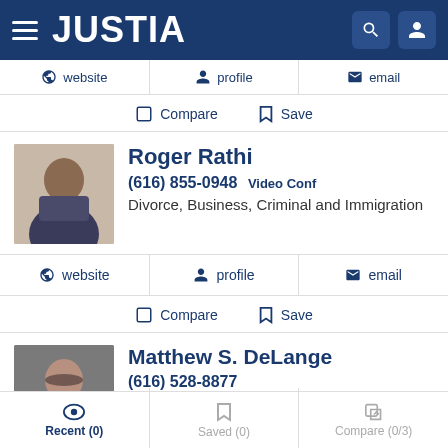JUSTIA
website   profile   email
Compare   Save
Roger Rathi
(616) 855-0948 Video Conf
Divorce, Business, Criminal and Immigration
website   profile   email
Compare   Save
Matthew S. DeLange
(616) 528-8877
Divorce, Domestic Violence and Family
Recent (0)   Saved (0)   Compare (0/3)